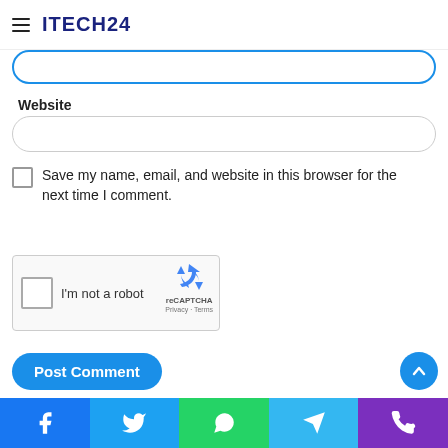ITECH24
[Figure (screenshot): Partial email input field with blue border at top of content area]
Website
[Figure (screenshot): Website input field with rounded border]
Save my name, email, and website in this browser for the next time I comment.
[Figure (screenshot): reCAPTCHA widget showing checkbox and 'I'm not a robot' text with reCAPTCHA logo, Privacy and Terms links]
Post Comment
[Figure (screenshot): Bottom navigation bar with Facebook, Twitter, WhatsApp, Telegram, and Phone icons]